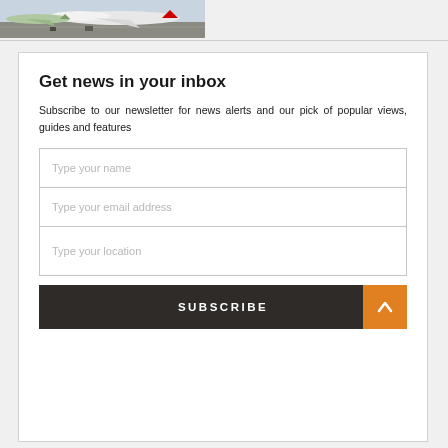[Figure (photo): Aerial photo of aircraft (likely Emirates and Cathay Pacific planes) on airport tarmac]
Get news in your inbox
Subscribe to our newsletter for news alerts and our pick of popular views, guides and features
Type your name
Type your email address
Type your location
SUBSCRIBE